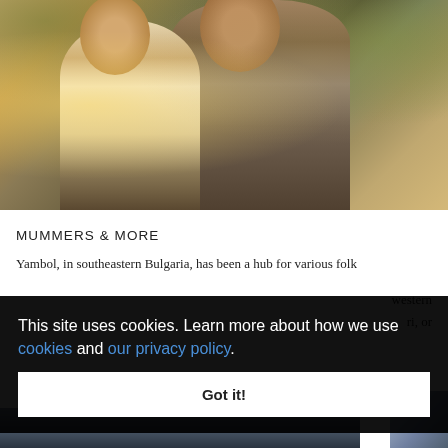[Figure (photo): Two people embracing outdoors in a forest setting with warm autumn light, one person wearing a light top and the other in a rustic woolen wrap.]
MUMMERS & MORE
Yambol, in southeastern Bulgaria, has been a hub for various folk
western
ri, or
This site uses cookies. Learn more about how we use cookies and our privacy policy.
Got it!
[Figure (photo): Partial view of a waterfront or harbor scene at the bottom of the page.]